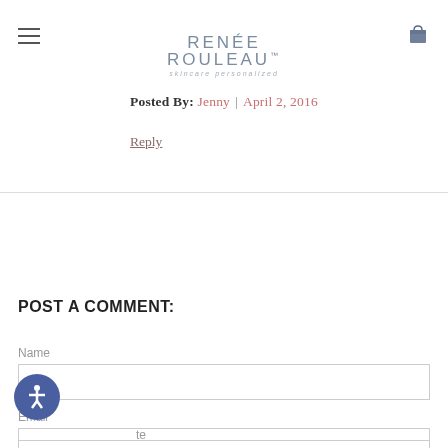RENÉE ROULEAU™ — skincare personalized
Posted By: Jenny | April 2, 2016
Reply
POST A COMMENT:
Name
Email
Website